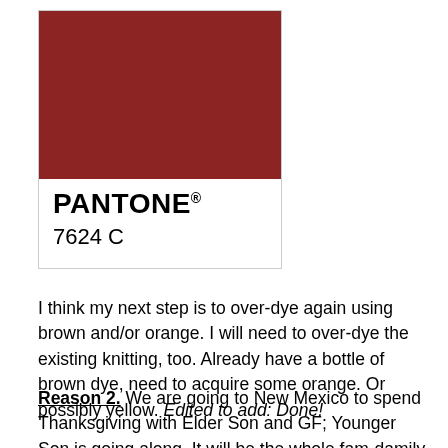[Figure (other): Pantone color swatch card showing Pantone 7624 C, a dark red/maroon color]
I think my next step is to over-dye again using brown and/or orange. I will need to over-dye the existing knitting, too. Already have a bottle of brown dye, need to acquire some orange. Or possibly yellow. Edited to add: Done!
Reason 2. We are going to New Mexico to spend Thanksgiving with Elder Son and GF; Younger Son is going along. It will be the whole fam-damily together, yay! I